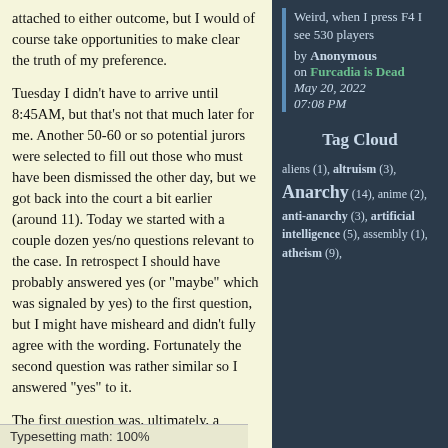attached to either outcome, but I would of course take opportunities to make clear the truth of my preference.
Tuesday I didn't have to arrive until 8:45AM, but that's not that much later for me. Another 50-60 or so potential jurors were selected to fill out those who must have been dismissed the other day, but we got back into the court a bit earlier (around 11). Today we started with a couple dozen yes/no questions relevant to the case. In retrospect I should have probably answered yes (or "maybe" which was signaled by yes) to the first question, but I might have misheard and didn't fully agree with the wording. Fortunately the second question was rather similar so I answered "yes" to it.
The first question was, ultimately, a question about whether we believed in [jury nullification], which I do, but it was obscured by my sleepy memory.
Weird, when I press F4 I see 530 players
by Anonymous on Furcadia is Dead May 20, 2022 07:08 PM
Tag Cloud
aliens (1), altruism (3), Anarchy (14), anime (2), anti-anarchy (3), artificial intelligence (5), assembly (1), atheism (9),
Typesetting math: 100%